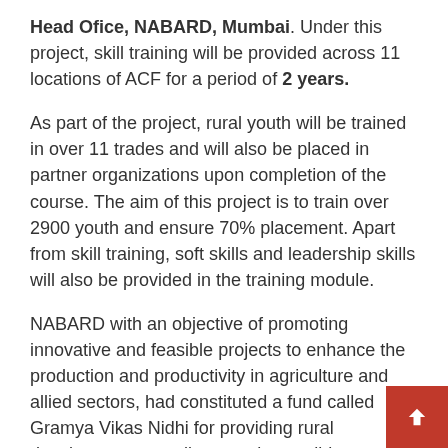Head Ofice, NABARD, Mumbai. Under this project, skill training will be provided across 11 locations of ACF for a period of 2 years.
As part of the project, rural youth will be trained in over 11 trades and will also be placed in partner organizations upon completion of the course. The aim of this project is to train over 2900 youth and ensure 70% placement. Apart from skill training, soft skills and leadership skills will also be provided in the training module.
NABARD with an objective of promoting innovative and feasible projects to enhance the production and productivity in agriculture and allied sectors, had constituted a fund called Gramya Vikas Nidhi for providing rural development to replicate and consolidate isolated successful initiatives under its different programmes. This project is yet another initiative executed by ACF in collaboration with NABARD and the two organisation